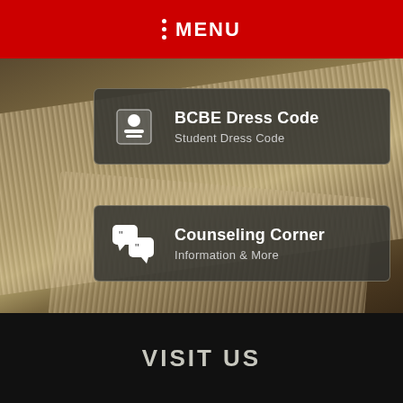MENU
BCBE Dress Code — Student Dress Code
Counseling Corner — Information & More
School payments — Online purchases
VISIT US